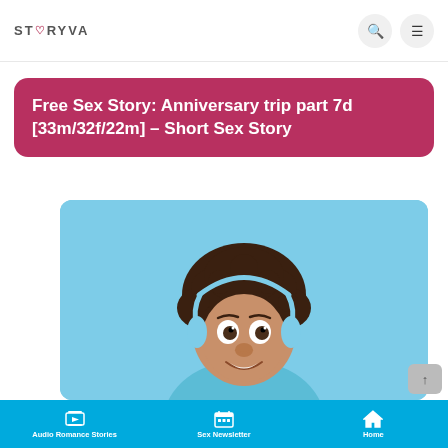STORYVA
Free Sex Story: Anniversary trip part 7d [33m/32f/22m] – Short Sex Story
[Figure (photo): Young woman with curly afro hair wearing light blue headphones, smiling with wide eyes, against a light blue background. She is wearing a light blue top.]
Audio Romance Stories | Sex Newsletter | Home